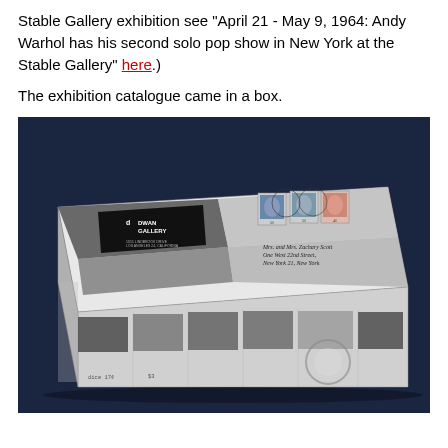Stable Gallery exhibition see "April 21 - May 9, 1964: Andy Warhol has his second solo pop show in New York at the Stable Gallery" here.)
The exhibition catalogue came in a box.
[Figure (photo): A rectangular box with black-and-white photographic imagery on all visible sides. The top of the box shows a Dwan Gallery label/card in the upper left, postal stamps featuring portraits in the upper right area, and a handwritten address reading 'Mrs. and Mrs. Zachary Scott, One West 22nd Street, New York 21, New York'. The box is photographed at a slight angle on a dark blue/navy background.]